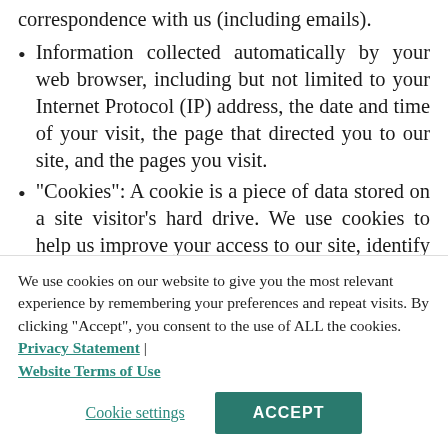correspondence with us (including emails).
Information collected automatically by your web browser, including but not limited to your Internet Protocol (IP) address, the date and time of your visit, the page that directed you to our site, and the pages you visit.
“Cookies”: A cookie is a piece of data stored on a site visitor’s hard drive. We use cookies to help us improve your access to our site, identify repeat visitors to our site, and to collect other
We use cookies on our website to give you the most relevant experience by remembering your preferences and repeat visits. By clicking “Accept”, you consent to the use of ALL the cookies. Privacy Statement | Website Terms of Use
Cookie settings | ACCEPT